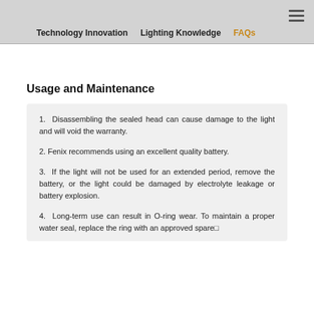Technology Innovation   Lighting Knowledge   FAQs
Usage and Maintenance
1. Disassembling the sealed head can cause damage to the light and will void the warranty.
2. Fenix recommends using an excellent quality battery.
3. If the light will not be used for an extended period, remove the battery, or the light could be damaged by electrolyte leakage or battery explosion.
4. Long-term use can result in O-ring wear. To maintain a proper water seal, replace the ring with an approved spare□